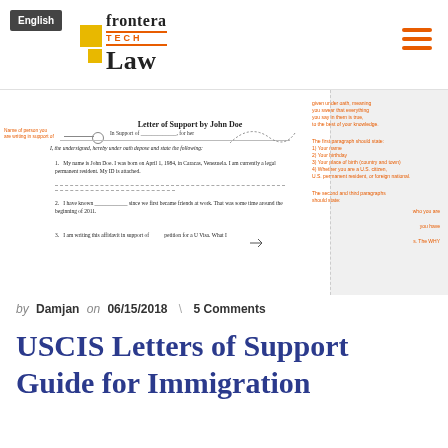English | frontera TECH Law
[Figure (illustration): Annotated sample immigration letter of support document with red/orange callout annotations pointing to various sections]
by Damjan on 06/15/2018 \ 5 Comments
USCIS Letters of Support Guide for Immigration